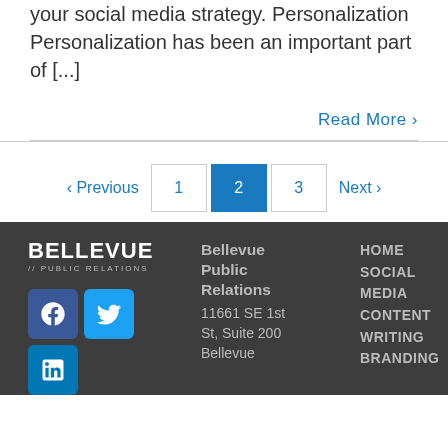your social media strategy. Personalization Personalization has been an important part of [...]
Read More ›
‹ Previous  1  2  3  Next ›
BELLEVUE // PUBLIC RELATIONS — Bellevue Public Relations, 11661 SE 1st St, Suite 200, Bellevue — HOME, SOCIAL, MEDIA, CONTENT, WRITING, BRANDING